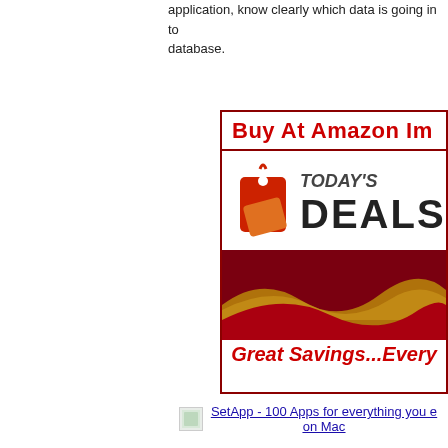application, know clearly which data is going in to database.
[Figure (infographic): Amazon Today's Deals advertisement banner with red price tag icons, dark red swooping wave design, and 'Great Savings...Every' text in red italic bold font.]
SetApp - 100 Apps for everything you e on Mac